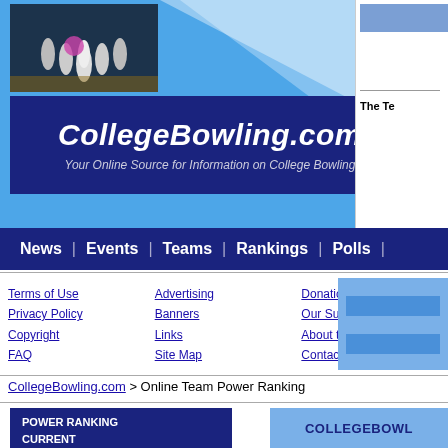[Figure (photo): Bowling pins photo in header]
CollegeBowling.com
Your Online Source for Information on College Bowling
The Te
News | Events | Teams | Rankings | Polls |
Terms of Use
Privacy Policy
Copyright
FAQ
Advertising
Banners
Links
Site Map
Donations
Our Supporters
About this Site
Contact Us
CollegeBowling.com > Online Team Power Ranking
POWER RANKING CURRENT
2019-2020
COLLEGEBOWL